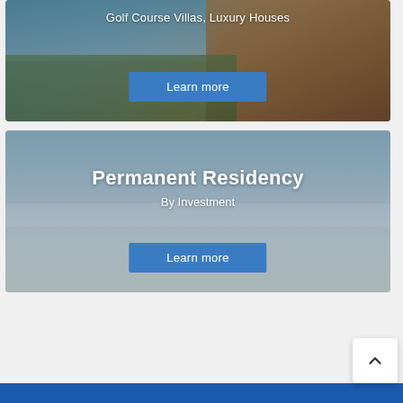[Figure (photo): Top card: landscape photo showing golf course villas and luxury houses with stone architecture, gardens, and blue sky. Subtitle text: 'Golf Course Villas, Luxury Houses'. Blue 'Learn more' button.]
[Figure (photo): Bottom card: photo of a family (man, woman, two girls) walking on a beach. Title: 'Permanent Residency'. Subtitle: 'By Investment'. Blue 'Learn more' button.]